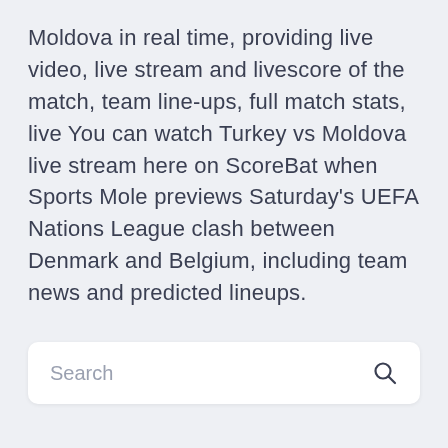Moldova in real time, providing live video, live stream and livescore of the match, team line-ups, full match stats, live You can watch Turkey vs Moldova live stream here on ScoreBat when Sports Mole previews Saturday's UEFA Nations League clash between Denmark and Belgium, including team news and predicted lineups.
Search